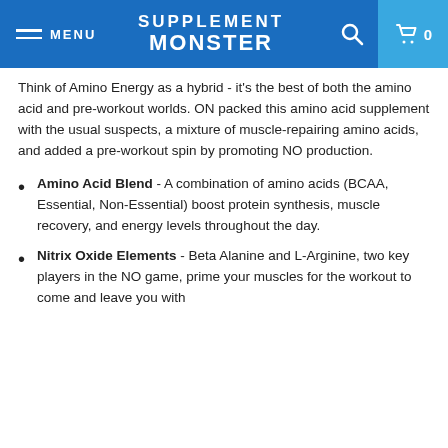MENU | SUPPLEMENT MONSTER | [search] [cart 0]
Think of Amino Energy as a hybrid - it's the best of both the amino acid and pre-workout worlds. ON packed this amino acid supplement with the usual suspects, a mixture of muscle-repairing amino acids, and added a pre-workout spin by promoting NO production.
Amino Acid Blend - A combination of amino acids (BCAA, Essential, Non-Essential) boost protein synthesis, muscle recovery, and energy levels throughout the day.
Nitrix Oxide Elements - Beta Alanine and L-Arginine, two key players in the NO game, prime your muscles for the workout to come and leave you with